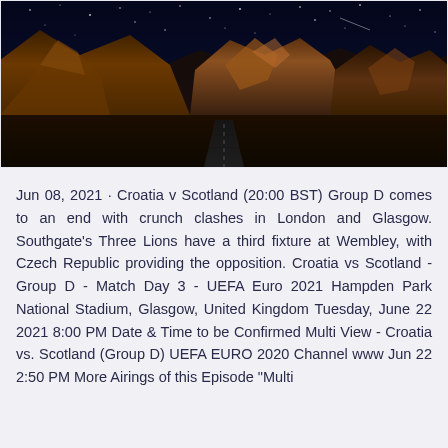[Figure (photo): Night landscape photo showing illuminated red rock mountains/cliffs against a dark navy blue starry sky, with a road leading into the distance in the foreground]
Jun 08, 2021 · Croatia v Scotland (20:00 BST) Group D comes to an end with crunch clashes in London and Glasgow. Southgate's Three Lions have a third fixture at Wembley, with Czech Republic providing the opposition. Croatia vs Scotland - Group D - Match Day 3 - UEFA Euro 2021 Hampden Park National Stadium, Glasgow, United Kingdom Tuesday, June 22 2021 8:00 PM Date & Time to be Confirmed Multi View - Croatia vs. Scotland (Group D) UEFA EURO 2020 Channel www Jun 22 2:50 PM More Airings of this Episode "Multi